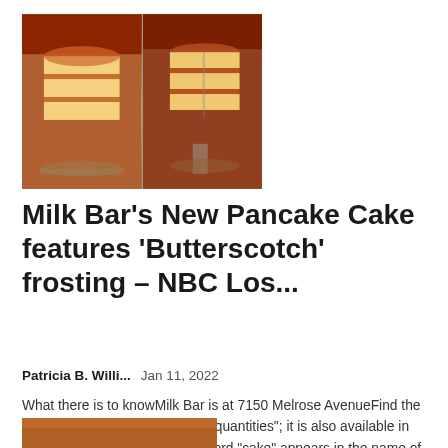[Figure (photo): Two pancake cakes on pedestals with caramel/butterscotch frosting, shown whole and sliced, on a table with syrup bottle and fork]
Milk Bar's New Pancake Cake features 'Butterscotch' frosting – NBC Los...
Patricia B. Willi...    Jan 11, 2022
What there is to knowMilk Bar is at 7150 Melrose AvenueFind the 6 inch cake in stores in "limited quantities"; it is also available in delivery$ 59 The fact that the word "cake" appears in the name of one of our most beloved...
[Figure (photo): Partial bottom image of another food item, cropped at page bottom]